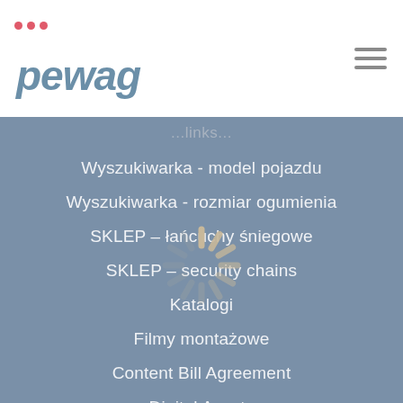[Figure (logo): pewag company logo with pink dots above and italic grey-blue text]
[Figure (other): Hamburger menu icon (three horizontal grey lines)]
...links...
Wyszukiwarka - model pojazdu
Wyszukiwarka - rozmiar ogumienia
SKLEP – łańcuchy śniegowe
SKLEP – security chains
Katalogi
[Figure (other): Loading spinner animation overlay]
Filmy montażowe
Content Bill Agreement
Digital Assets
Ochrona danych
Kontakt
Imprint